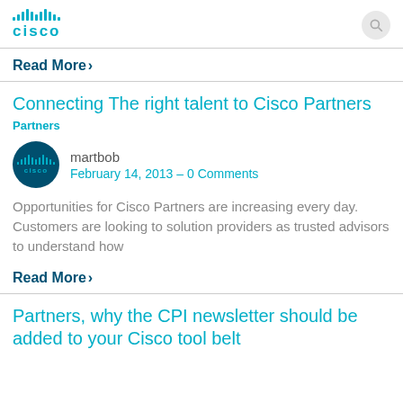[Figure (logo): Cisco logo with stylized bars and CISCO text in teal]
Read More>
Connecting The right talent to Cisco Partners
Partners
[Figure (logo): Cisco avatar logo circle with teal bars on dark blue background]
martbob
February 14, 2013 – 0 Comments
Opportunities for Cisco Partners are increasing every day. Customers are looking to solution providers as trusted advisors to understand how
Read More>
Partners, why the CPI newsletter should be added to your Cisco tool belt